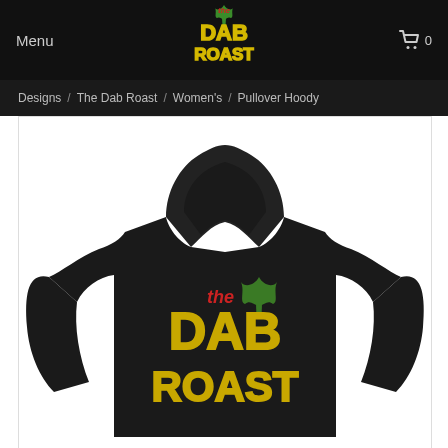Menu | The Dab Roast | Cart 0
Designs / The Dab Roast / Women's / Pullover Hoody
[Figure (photo): A black pullover hoodie featuring The Dab Roast logo — 'the' in red italic, a green cannabis leaf, and 'DAB ROAST' in large yellow outlined block letters — displayed on a white background.]